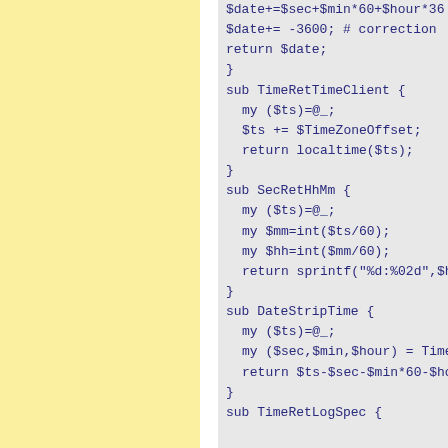[Figure (other): Yellow left panel background]
$date+=$sec+$min*60+$hour*36...
$date+= -3600; # correction
return $date;
}

sub TimeRetTimeClient {
  my ($ts)=@_;
  $ts += $TimeZoneOffset;
  return localtime($ts);
}

sub SecRetHhMm {
  my ($ts)=@_;
  my $mm=int($ts/60);
  my $hh=int($mm/60);
  return sprintf("%d:%02d",$hh,$m...
}

sub DateStripTime {
  my ($ts)=@_;
  my ($sec,$min,$hour) = TimeRet...
  return $ts-$sec-$min*60-$hour*36...
}

sub TimeRetLogSpec {